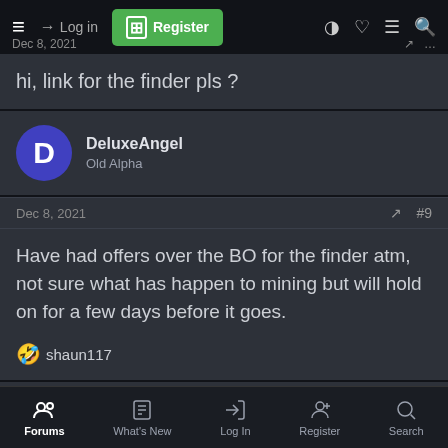Dec 8, 2021 | Log in | Register
hi, link for the finder pls ?
DeluxeAngel
Old Alpha
Dec 8, 2021 #9
Have had offers over the BO for the finder atm, not sure what has happen to mining but will hold on for a few days before it goes.
🤣 shaun117
DeluxeAngel
Old Alpha
Forums | What's New | Log In | Register | Search